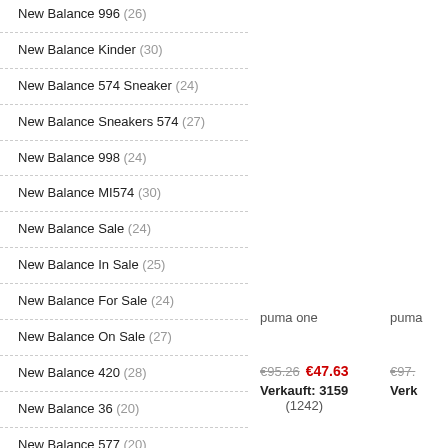New Balance 996 (26)
New Balance Kinder (30)
New Balance 574 Sneaker (24)
New Balance Sneakers 574 (27)
New Balance 998 (24)
New Balance MI574 (30)
New Balance Sale (24)
New Balance In Sale (25)
New Balance For Sale (24)
New Balance On Sale (27)
New Balance 420 (28)
New Balance 36 (20)
New Balance 577 (20)
New Balance 420 S (23)
New Balance 608 (28)
New Balance Schuhe Damen (27)
puma one
puma
€95.26  €47.63
Verkauft: 3159
(1242)
€97.
Verk
wie